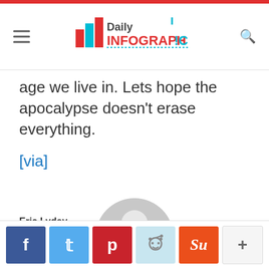Daily Infographic
age we live in. Lets hope the apocalypse doesn't erase everything.
[via]
[Figure (illustration): Default user avatar - grey circle with person silhouette]
Eric Lyday
[Figure (infographic): Social share buttons: Facebook, Twitter, Pinterest, Reddit, StumbleUpon, More (+)]